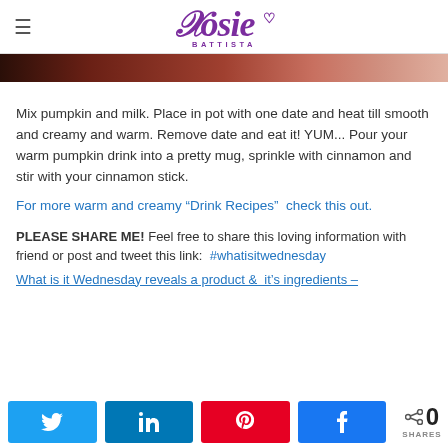Rosie BATTISTA
[Figure (photo): Partial food/drink photo at top of page]
Mix pumpkin and milk. Place in pot with one date and heat till smooth and creamy and warm. Remove date and eat it! YUM... Pour your warm pumpkin drink into a pretty mug, sprinkle with cinnamon and stir with your cinnamon stick.
For more warm and creamy “Drink Recipes”  check this out.
PLEASE SHARE ME! Feel free to share this loving information with friend or post and tweet this link:  #whatisitwednesday What is it Wednesday reveals a product &  it’s ingredients –
[Figure (infographic): Social share buttons: Twitter, LinkedIn, Pinterest, Facebook, and 0 SHARES counter]